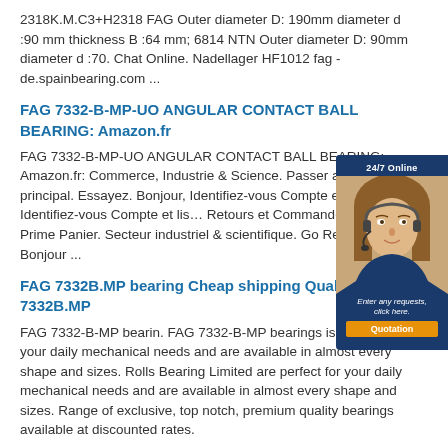2318K.M.C3+H2318 FAG Outer diameter D: 190mm diameter d :90 mm thickness B :64 mm; 6814 NTN Outer diameter D: 90mm diameter d :70. Chat Online. Nadellager HF1012 fag - de.spainbearing.com ...
FAG 7332-B-MP-UO ANGULAR CONTACT BALL BEARING: Amazon.fr
FAG 7332-B-MP-UO ANGULAR CONTACT BALL BEARING: Amazon.fr: Commerce, Industrie & Science. Passer au contenu principal. Essayez. Bonjour, Identifiez-vous Compte et listes Identifiez-vous Compte et lis… Retours et Commandes Testez Prime Panier. Secteur industriel &amp; scientifique. Go Rechercher Bonjour ...
[Figure (other): Chat widget overlay showing a woman with headset, '24/7 Online' text, 'Enter any requests, click here.' italic text, and an orange 'Quotation' button on a dark blue background.]
FAG 7332B.MP bearing Cheap shipping Quality 7332B.MP
FAG 7332-B-MP bearin. FAG 7332-B-MP bearings is perfect for your daily mechanical needs and are available in almost every shape and sizes. Rolls Bearing Limited are perfect for your daily mechanical needs and are available in almost every shape and sizes. Range of exclusive, top notch, premium quality bearings available at discounted rates.
Buy Angular contact ball/ Spindle bearings · 7332-B-MP-UO
7332-B-MP-UO online kaufen ... INA Linear ball bearing and housing units; Bosch Linear ball bearing and housing units; ... Angular contact ball/ Spindle bearings · 7332-B-MP-UO · FAG · 160x340x68 Details on FAG 7332-B-MP-UO.